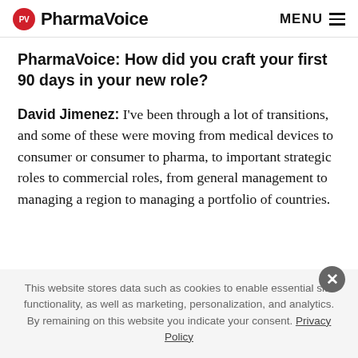PV PharmaVoice MENU
PharmaVoice: How did you craft your first 90 days in your new role?
David Jimenez: I've been through a lot of transitions, and some of these were moving from medical devices to consumer or consumer to pharma, to important strategic roles to commercial roles, from general management to managing a region to managing a portfolio of countries.
This website stores data such as cookies to enable essential site functionality, as well as marketing, personalization, and analytics. By remaining on this website you indicate your consent. Privacy Policy